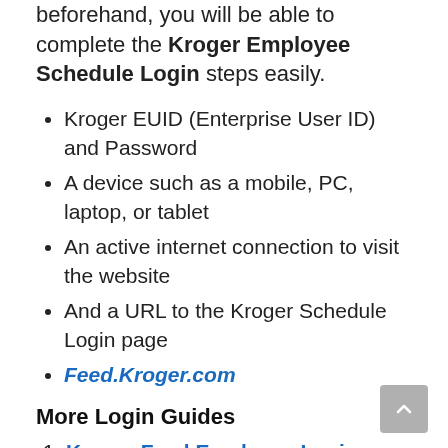beforehand, you will be able to complete the Kroger Employee Schedule Login steps easily.
Kroger EUID (Enterprise User ID) and Password
A device such as a mobile, PC, laptop, or tablet
An active internet connection to visit the website
And a URL to the Kroger Schedule Login page
Feed.Kroger.com
More Login Guides
Kroger Feed Employee Login